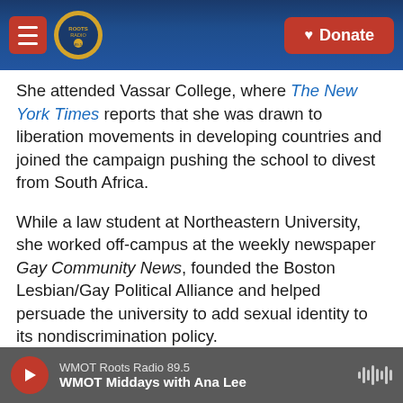Roots Radio | Donate
She attended Vassar College, where The New York Times reports that she was drawn to liberation movements in developing countries and joined the campaign pushing the school to divest from South Africa.
While a law student at Northeastern University, she worked off-campus at the weekly newspaper Gay Community News, founded the Boston Lesbian/Gay Political Alliance and helped persuade the university to add sexual identity to its nondiscrimination policy.
From 1992 to 1996, Void worked as a staff attorney
WMOT Roots Radio 89.5 | WMOT Middays with Ana Lee